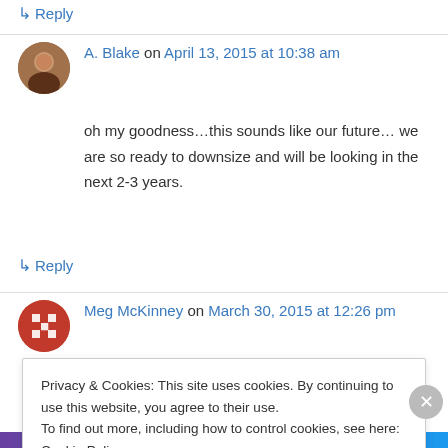↳ Reply
A. Blake on April 13, 2015 at 10:38 am
oh my goodness…this sounds like our future… we are so ready to downsize and will be looking in the next 2-3 years.
↳ Reply
Meg McKinney on March 30, 2015 at 12:26 pm
Privacy & Cookies: This site uses cookies. By continuing to use this website, you agree to their use. To find out more, including how to control cookies, see here: Cookie Policy
Close and accept